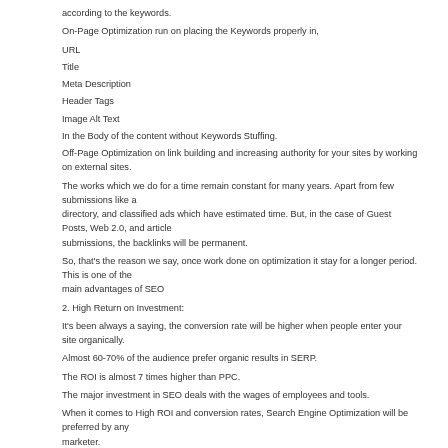according to the keywords.
On-Page Optimization run on placing the Keywords properly in,
URL
Title
Meta Description
Header Tags
Image Alt Text
In the Body of the content without Keywords Stuffing.
Off-Page Optimization on link building and increasing authority for your sites by working on external sites.
The works which we do for a time remain constant for many years. Apart from few submissions like a directory, and classified ads which have estimated time. But, in the case of Guest Posts, Web 2.0, and article submissions, the backlinks will be permanent.
So, that's the reason we say, once work done on optimization it stay for a longer period. This is one of the main advantages of SEO
2. High Return on Investment:
It's been always a saying, the conversion rate will be higher when people enter your site organically.
Almost 60-70% of the audience prefer organic results in SERP.
The ROI is almost 7 times higher than PPC.
The major investment in SEO deals with the wages of employees and tools.
When it comes to High ROI and conversion rates, Search Engine Optimization will be preferred by any marketer.
3. Brand Awareness: